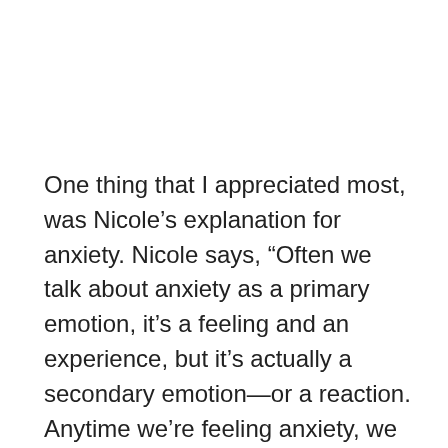One thing that I appreciated most, was Nicole's explanation for anxiety. Nicole says, “Often we talk about anxiety as a primary emotion, it’s a feeling and an experience, but it’s actually a secondary emotion—or a reaction. Anytime we’re feeling anxiety, we can look at it as a clue. In my own life, I’m either believing a lie about who I am—about my identity. Or I’m